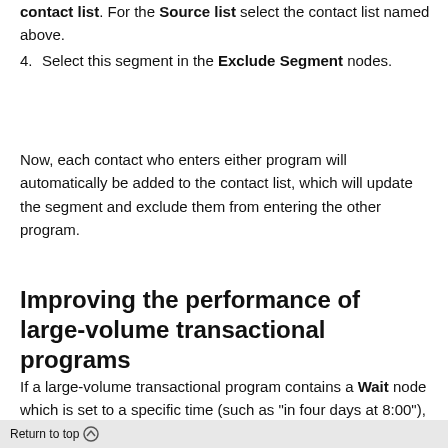contact list. For the Source list select the contact list named above.
4. Select this segment in the Exclude Segment nodes.
Now, each contact who enters either program will automatically be added to the contact list, which will update the segment and exclude them from entering the other program.
Improving the performance of large-volume transactional programs
If a large-volume transactional program contains a Wait node which is set to a specific time (such as "in four days at 8:00"), it can lead to performance issues
Return to top